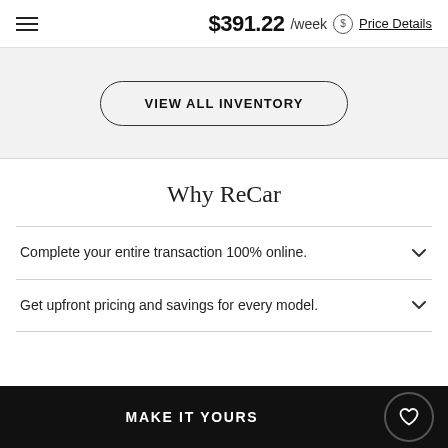$391.22 /week  Price Details
VIEW ALL INVENTORY
Why ReCar
Complete your entire transaction 100% online.
Get upfront pricing and savings for every model.
MAKE IT YOURS